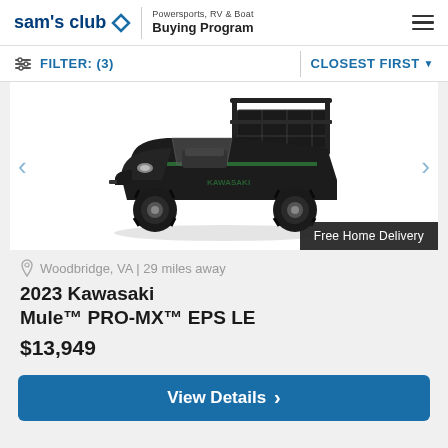sam's club | Powersports, RV & Boat Buying Program
FILTER: (3)  CLOSEST FIRST
[Figure (photo): 2023 Kawasaki Mule PRO-MX EPS LE utility vehicle in black, side/front 3/4 view with cargo bed and roll cage]
Free Home Delivery
Woodbridge, VA | 29 miles away
2023 Kawasaki Mule™ PRO-MX™ EPS LE
$13,949
View Details